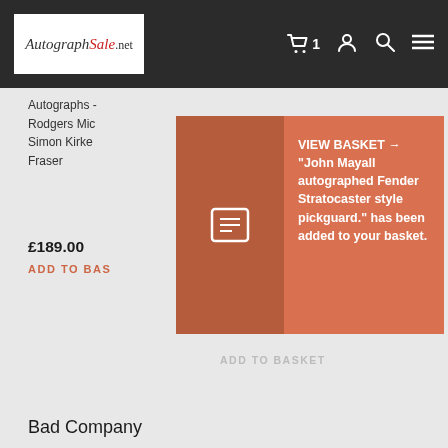[Figure (screenshot): AutographSale.net website navbar with logo, cart icon with count 1, user icon, search icon, and hamburger menu]
Autographs - Rodgers Mic Simon Kirke Fraser
£189.00
ADD TO BAS
[Figure (screenshot): Dark salmon/brown overlay panel with a document icon on the left and an orange notification panel on the right]
VIEW BASKET → "John Mayall autographed Fender Stratocaster style pickguard." has been added to your basket.
ADD TO BASKET
Bad Company